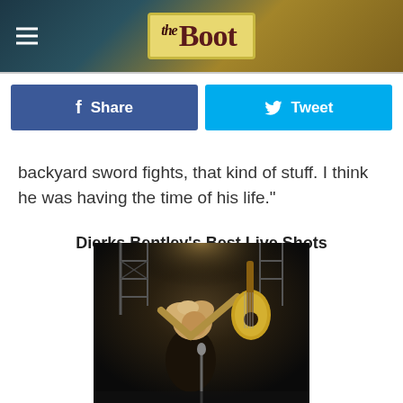the Boot
backyard sword fights, that kind of stuff. I think he was having the time of his life."
Dierks Bentley's Best Live Shots
[Figure (photo): Dierks Bentley performing live on stage, holding an acoustic guitar up high, with curly blonde hair and sleeveless shirt, stage lighting and scaffolding in background]